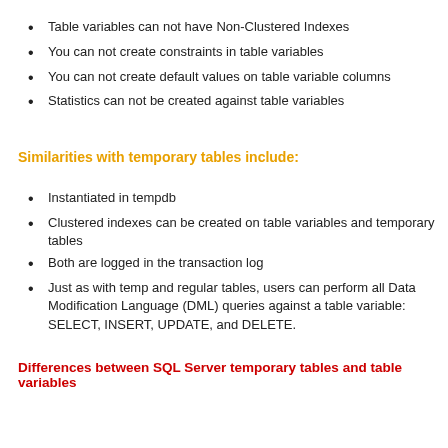Table variables can not have Non-Clustered Indexes
You can not create constraints in table variables
You can not create default values on table variable columns
Statistics can not be created against table variables
Similarities with temporary tables include:
Instantiated in tempdb
Clustered indexes can be created on table variables and temporary tables
Both are logged in the transaction log
Just as with temp and regular tables, users can perform all Data Modification Language (DML) queries against a table variable:  SELECT, INSERT, UPDATE, and DELETE.
Differences between SQL Server temporary tables and table variables